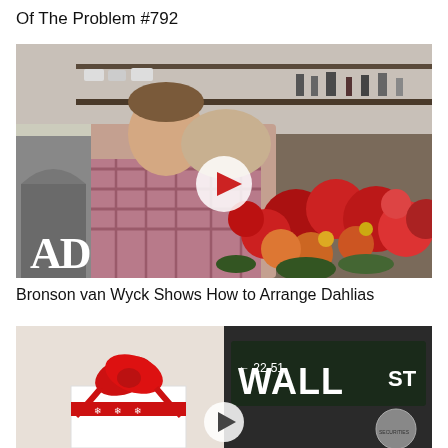Of The Problem #792
[Figure (photo): Man holding a dog surrounded by large red and orange dahlia flower arrangements in a kitchen, with AD magazine logo in bottom left and a play button overlay in the center.]
Bronson van Wyck Shows How to Arrange Dahlias
[Figure (photo): Split image: left side shows a gift wrapped in white paper with a red bow, right side shows a Wall Street sign reading '22-51 WALL ST' with a partial view of a Securities circular emblem. Play button overlay visible.]